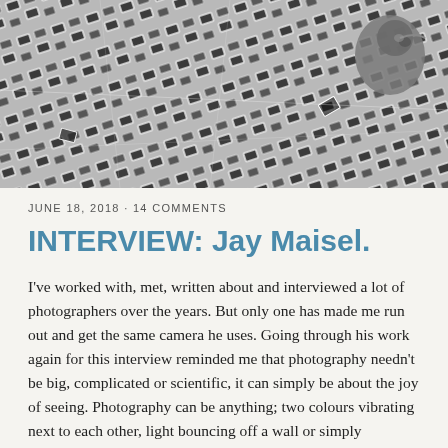[Figure (photo): Black and white photo of scattered film slides/negatives with a bird visible in the upper right corner]
JUNE 18, 2018 · 14 COMMENTS
INTERVIEW: Jay Maisel.
I've worked with, met, written about and interviewed a lot of photographers over the years. But only one has made me run out and get the same camera he uses. Going through his work again for this interview reminded me that photography needn't be big, complicated or scientific, it can simply be about the joy of seeing. Photography can be anything; two colours vibrating next to each other, light bouncing off a wall or simply someone